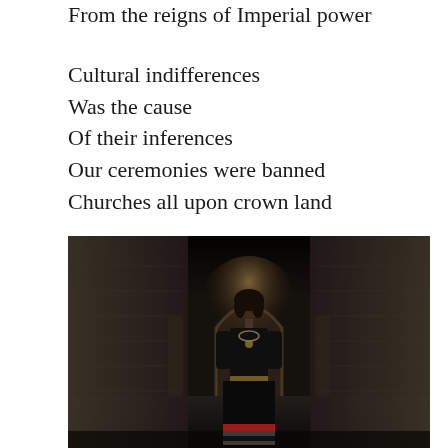From the reigns of Imperial power
Cultural indifferences
Was the cause
Of their inferences
Our ceremonies were banned
Churches all upon crown land
[Figure (photo): A woman in traditional indigenous dress stands in a dark stone corridor or passageway. She wears a black top and a long skirt with red, white, and blue horizontal stripes at the bottom. The corridor has stone brick walls on either side with arched openings visible in the background, partially lit.]